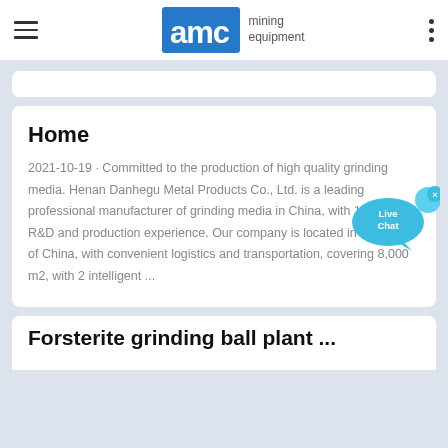AMC mining equipment
Home
2021-10-19 · Committed to the production of high quality grinding media. Henan Danhegu Metal Products Co., Ltd. is a leading professional manufacturer of grinding media in China, with 10 years of R&D and production experience. Our company is located in the middle of China, with convenient logistics and transportation, covering 8,000 m2, with 2 intelligent ...
[Figure (illustration): Live Chat speech bubble icon in cyan/blue color with 'Live Chat' text and an 'x' close button]
Forsterite grinding ball plant ...